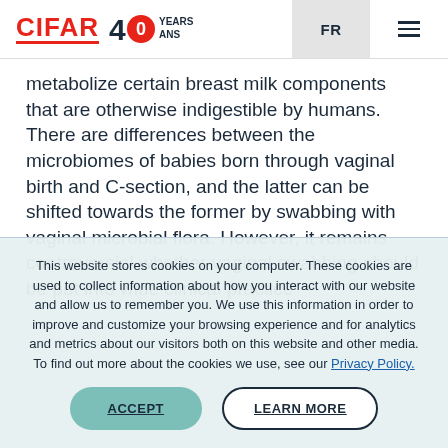CIFAR 40 YEARS ANS | FR
metabolize certain breast milk components that are otherwise indigestible by humans. There are differences between the microbiomes of babies born through vaginal birth and C-section, and the latter can be shifted towards the former by swabbing with vaginal microbial flora. However, it remains controversial whether vaginal swabbing should be put into wide clinical practice
This website stores cookies on your computer. These cookies are used to collect information about how you interact with our website and allow us to remember you. We use this information in order to improve and customize your browsing experience and for analytics and metrics about our visitors both on this website and other media. To find out more about the cookies we use, see our Privacy Policy.